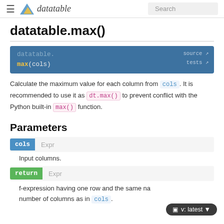datatable — Search
datatable.max()
[Figure (screenshot): Code block showing: datatable. max(cols) with source and tests links on right]
Calculate the maximum value for each column from cols. It is recommended to use it as dt.max() to prevent conflict with the Python built-in max() function.
Parameters
cols  Expr
Input columns.
return  Expr
f-expression having one row and the same na... number of columns as in cols.